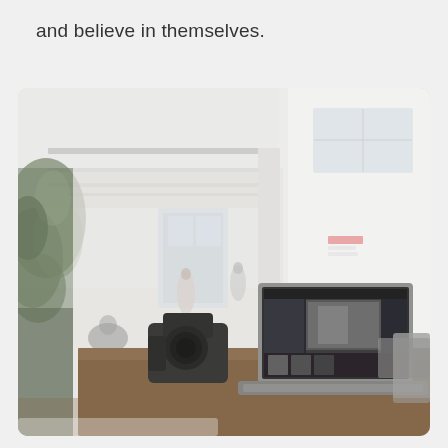and believe in themselves.
[Figure (photo): A bright open-plan office or studio space photographed with shallow depth of field. In the foreground is a wooden desk with a DSLR camera and an open laptop displaying photo editing software. In the background, people walk around a large airy industrial-style space with high ceilings, white structural beams, large windows, and a green plant to the left.]